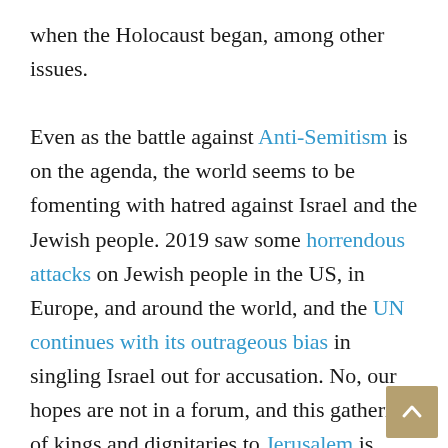when the Holocaust began, among other issues.

Even as the battle against Anti-Semitism is on the agenda, the world seems to be fomenting with hatred against Israel and the Jewish people. 2019 saw some horrendous attacks on Jewish people in the US, in Europe, and around the world, and the UN continues with its outrageous bias in singling Israel out for accusation. No, our hopes are not in a forum, and this gathering of kings and dignitaries to Jerusalem is unlikely to bring any great answers. We know from God's Word that the world will ultimately turn against